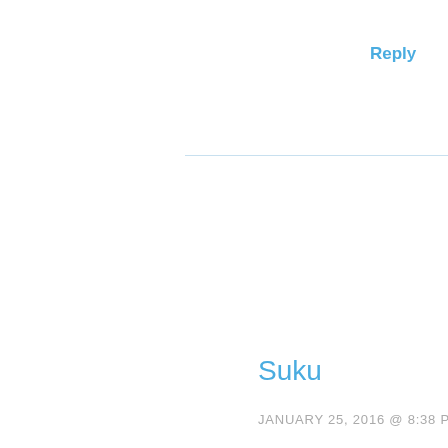Reply
Suku
JANUARY 25, 2016 @ 8:38 PM
Hi David, I have done lot of teaching/understanding courses are taught like th I have never enjoyed and includes spending thousa THIS IS A MUST JOIN COU REINFORCE) OR WANTS T EXPERIENCED ANY TH